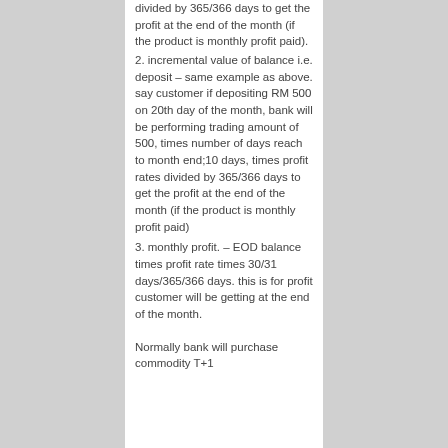divided by 365/366 days to get the profit at the end of the month (if the product is monthly profit paid).
2. incremental value of balance i.e. deposit – same example as above. say customer if depositing RM 500 on 20th day of the month, bank will be performing trading amount of 500, times number of days reach to month end;10 days, times profit rates divided by 365/366 days to get the profit at the end of the month (if the product is monthly profit paid)
3. monthly profit. – EOD balance times profit rate times 30/31 days/365/366 days. this is for profit customer will be getting at the end of the month.
Normally bank will purchase commodity T+1